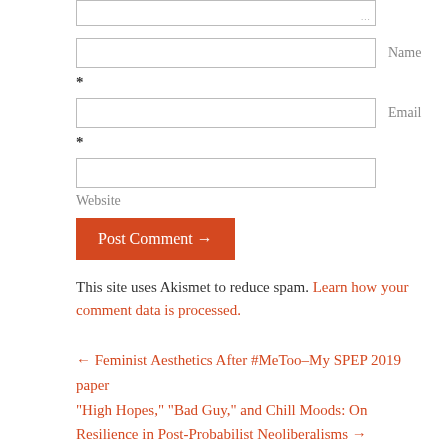[textarea box]
Name
*
Email
*
Website
Post Comment →
This site uses Akismet to reduce spam. Learn how your comment data is processed.
← Feminist Aesthetics After #MeToo–My SPEP 2019 paper
"High Hopes," "Bad Guy," and Chill Moods: On Resilience in Post-Probabilist Neoliberalisms →